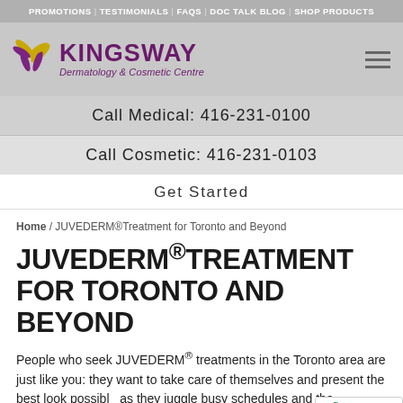PROMOTIONS | TESTIMONIALS | FAQS | DOC TALK BLOG | SHOP PRODUCTS
[Figure (logo): Kingsway Dermatology & Cosmetic Centre logo with purple leaf/flower icon and text]
Call Medical: 416-231-0100
Call Cosmetic: 416-231-0103
Get Started
Home / JUVEDERM®Treatment for Toronto and Beyond
JUVEDERM® TREATMENT FOR TORONTO AND BEYOND
People who seek JUVEDERM® treatments in the Toronto area are just like you: they want to take care of themselves and present the best look possible as they juggle busy schedules and the demands of their everyday lives.